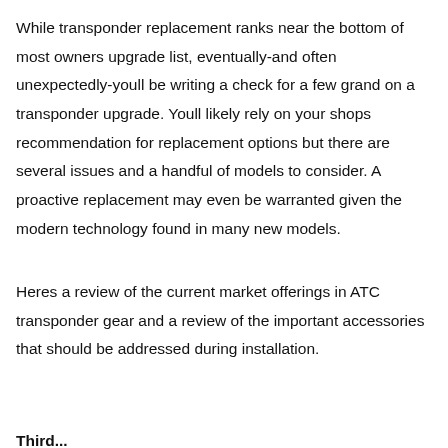While transponder replacement ranks near the bottom of most owners upgrade list, eventually-and often unexpectedly-youll be writing a check for a few grand on a transponder upgrade. Youll likely rely on your shops recommendation for replacement options but there are several issues and a handful of models to consider. A proactive replacement may even be warranted given the modern technology found in many new models.
Heres a review of the current market offerings in ATC transponder gear and a review of the important accessories that should be addressed during installation.
Third...